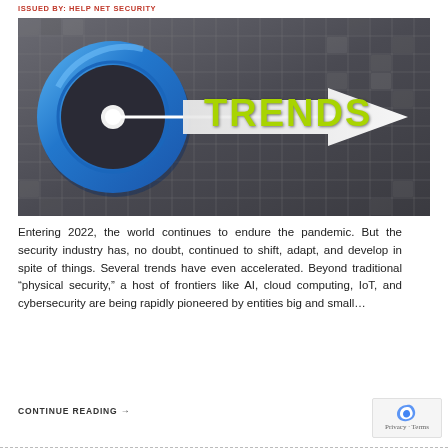ISSUED BY: HELP NET SECURITY
[Figure (illustration): Hero image showing a blue circular key/ring with a white arrow pointing right labeled TRENDS in green text, on a dark metallic grid background]
Entering 2022, the world continues to endure the pandemic. But the security industry has, no doubt, continued to shift, adapt, and develop in spite of things. Several trends have even accelerated. Beyond traditional “physical security,” a host of frontiers like AI, cloud computing, IoT, and cybersecurity are being rapidly pioneered by entities big and small…
CONTINUE READING →